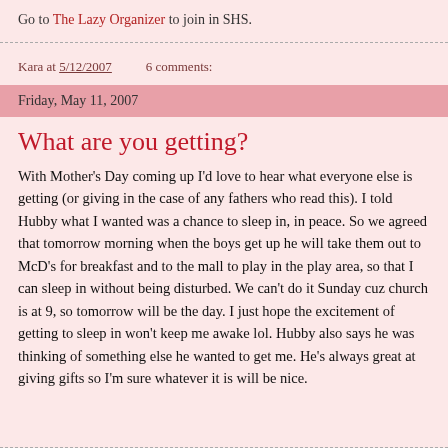Go to The Lazy Organizer to join in SHS.
Kara at 5/12/2007    6 comments:
Friday, May 11, 2007
What are you getting?
With Mother's Day coming up I'd love to hear what everyone else is getting (or giving in the case of any fathers who read this). I told Hubby what I wanted was a chance to sleep in, in peace. So we agreed that tomorrow morning when the boys get up he will take them out to McD's for breakfast and to the mall to play in the play area, so that I can sleep in without being disturbed. We can't do it Sunday cuz church is at 9, so tomorrow will be the day. I just hope the excitement of getting to sleep in won't keep me awake lol. Hubby also says he was thinking of something else he wanted to get me. He's always great at giving gifts so I'm sure whatever it is will be nice.